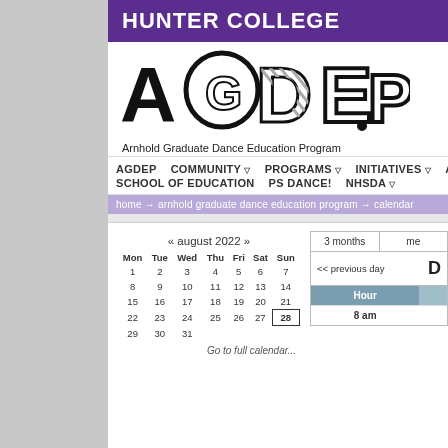HUNTER COLLEGE
[Figure (logo): AGDEP logo with stylized letters and text 'Arnhold Graduate Dance Education Program']
AGDEP   COMMUNITY ▽   PROGRAMS ▽   INITIATIVES ▽   APP   SCHOOL OF EDUCATION   PS DANCE!   NHSDA ▽
home → arnhold graduate dance education program → calendar
« august 2022 »
| Mon | Tue | Wed | Thu | Fri | Sat | Sun |
| --- | --- | --- | --- | --- | --- | --- |
| 1 | 2 | 3 | 4 | 5 | 6 | 7 |
| 8 | 9 | 10 | 11 | 12 | 13 | 14 |
| 15 | 16 | 17 | 18 | 19 | 20 | 21 |
| 22 | 23 | 24 | 25 | 26 | 27 | 28 |
| 29 | 30 | 31 |  |  |  |  |
Go to full calendar...
3 months   me
<< previous day   D
| Hour |  |
| --- | --- |
| 8 am |  |